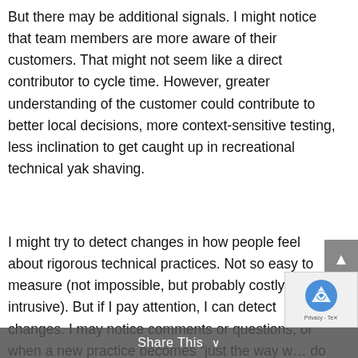But there may be additional signals. I might notice that team members are more aware of their customers. That might not seem like a direct contributor to cycle time. However, greater understanding of the customer could contribute to better local decisions, more context-sensitive testing, less inclination to get caught up in recreational technical yak shaving.
I might try to detect changes in how people feel about rigorous technical practices. Not so easy to measure (not impossible, but probably costly and intrusive). But if I pay attention, I can detect changes. I may notice comments or questions, or when a new practice becomes “just the way w… do things.”  If people  struggle with a new practice, it might be a signal that some pre-
Share This ∨